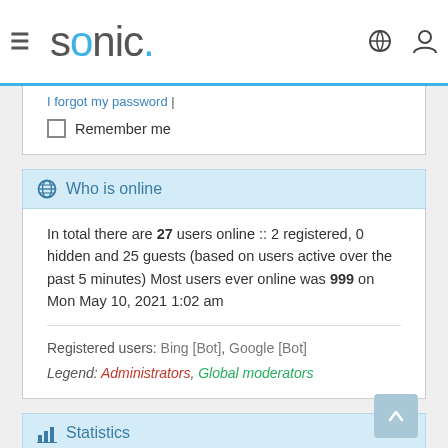sonic. [navigation header with hamburger menu, user icon, search icon]
I forgot my password |
Remember me
Who is online
In total there are 27 users online :: 2 registered, 0 hidden and 25 guests (based on users active over the past 5 minutes) Most users ever online was 999 on Mon May 10, 2021 1:02 am
Registered users: Bing [Bot], Google [Bot]
Legend: Administrators, Global moderators
Statistics
Total posts 45854 • Total topics 6316 • Total members 12220 •